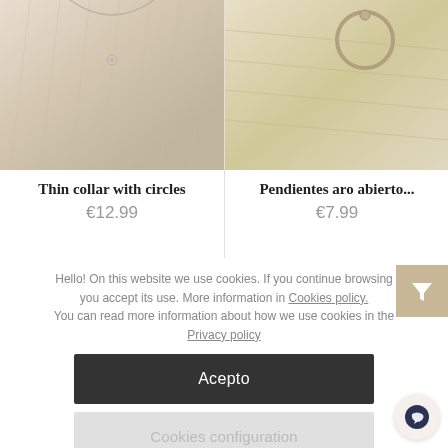[Figure (photo): Product photo of thin collar with circles, linen-look fabric, close-up]
Thin collar with circles
€12.99
[Figure (photo): Product photo of open hoop earrings on wooden surface]
Pendientes aro abierto...
€7.99
Hello! On this website we use cookies. If you continue browsing you accept its use. More information in Cookies policy. You can read more information about how we use cookies in the Privacy policy
Acepto
Cookies configuration